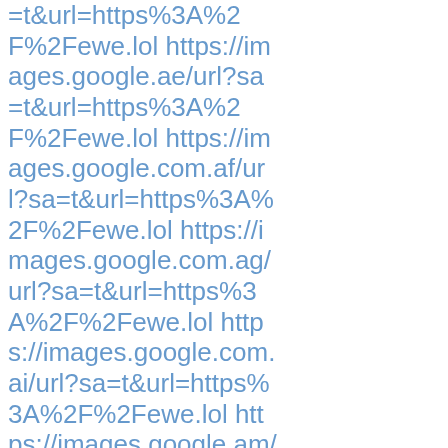=t&url=https%3A%2F%2Fewe.lol https://images.google.ae/url?sa=t&url=https%3A%2F%2Fewe.lol https://images.google.com.af/url?sa=t&url=https%3A%2F%2Fewe.lol https://images.google.com.ag/url?sa=t&url=https%3A%2F%2Fewe.lol https://images.google.com.ai/url?sa=t&url=https%3A%2F%2Fewe.lol https://images.google.am/url?sa=t&url=https%3A%2F%2Fewe.lol https://images.google.it.ao/url?sa=t&url=https%3A%2F%2Fewe.lol https://images.google.com.ar/url?sa=t&url=https%3A%2F%2Fewe.lol https://images.google.as/url?sa=t&url=https%3A%2F%2Fewe.lol http